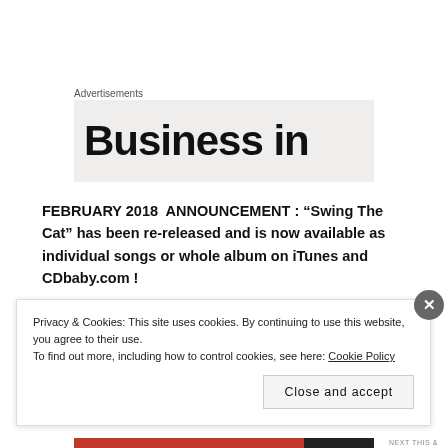Advertisements
[Figure (other): Advertisement banner showing 'Business in' text in large bold font on a light grey background]
FEBRUARY 2018  ANNOUNCEMENT : “Swing The Cat” has been re-released and is now available as individual songs or whole album on iTunes and CDbaby.com !
Meg Davis has been producing and publishing original
Privacy & Cookies: This site uses cookies. By continuing to use this website, you agree to their use.
To find out more, including how to control cookies, see here: Cookie Policy
Close and accept